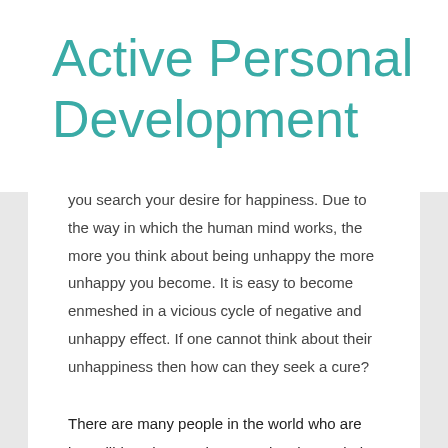Active Personal Development
you search your desire for happiness. Due to the way in which the human mind works, the more you think about being unhappy the more unhappy you become. It is easy to become enmeshed in a vicious cycle of negative and unhappy effect. If one cannot think about their unhappiness then how can they seek a cure?
There are many people in the world who are incredibly unhappy; the more they have tried to find